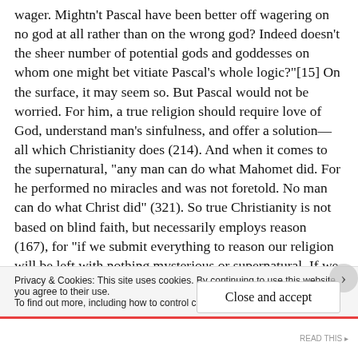wager. Mightn't Pascal have been better off wagering on no god at all rather than on the wrong god? Indeed doesn't the sheer number of potential gods and goddesses on whom one might bet vitiate Pascal's whole logic?"[15] On the surface, it may seem so. But Pascal would not be worried. For him, a true religion should require love of God, understand man's sinfulness, and offer a solution—all which Christianity does (214). And when it comes to the supernatural, "any man can do what Mahomet did. For he performed no miracles and was not foretold. No man can do what Christ did" (321). So true Christianity is not based on blind faith, but necessarily employs reason (167), for "if we submit everything to reason our religion will be left with nothing mysterious or supernatural. If we offend the principles of reason our religion will be absurd
Privacy & Cookies: This site uses cookies. By continuing to use this website, you agree to their use. To find out more, including how to control cookies, see here: Cookie Policy
Close and accept